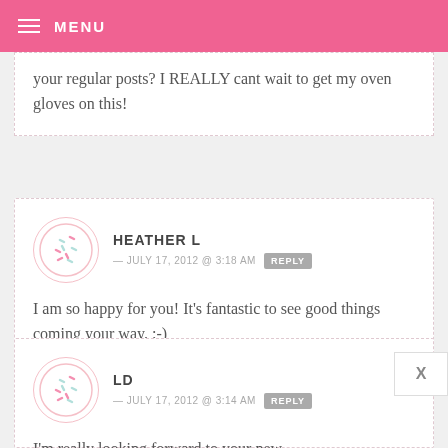MENU
your regular posts? I REALLY cant wait to get my oven gloves on this!
HEATHER L — JULY 17, 2012 @ 3:18 AM REPLY
I am so happy for you! It's fantastic to see good things coming your way. :-)
LD — JULY 17, 2012 @ 3:14 AM REPLY
I'm really looking forward to your new